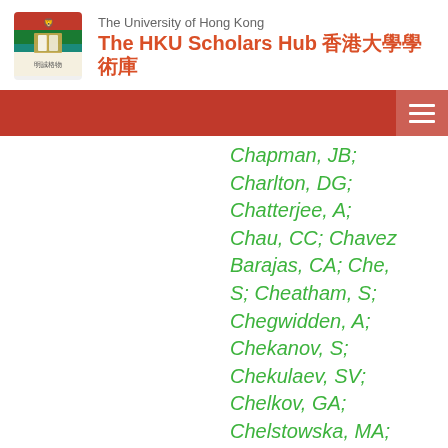The University of Hong Kong — The HKU Scholars Hub 香港大學學術庫
Chapman, JB; Charlton, DG; Chatterjee, A; Chau, CC; Chavez Barajas, CA; Che, S; Cheatham, S; Chegwidden, A; Chekanov, S; Chekulaev, SV; Chelkov, GA; Chelstowska, MA; Chen, C; Chen, H; Chen, K; Chen, S; Chen, S; Chen, X; Chen, Y; Cheng, HC; Cheng, HJ; Cheng, Y; Cheplakov, A;